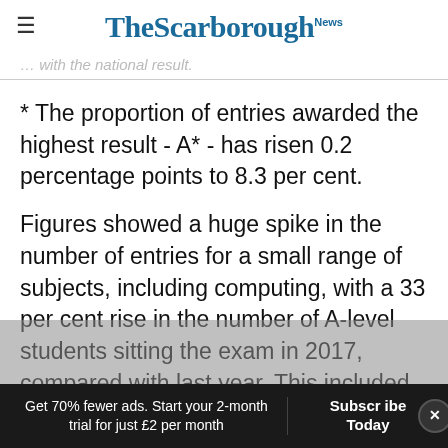The Scarborough News
… with the national result.
* The proportion of entries awarded the highest result - A* - has risen 0.2 percentage points to 8.3 per cent.
Figures showed a huge spike in the number of entries for a small range of subjects, including computing, with a 33 per cent rise in the number of A-level students sitting the exam in 2017, compared with last year. This included a
Get 70% fewer ads. Start your 2-month trial for just £2 per month | Subscribe Today